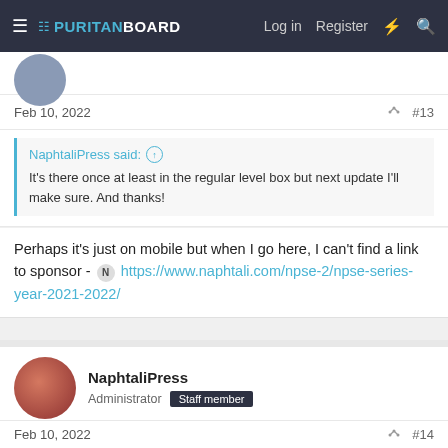PURITAN BOARD — Log in  Register
Feb 10, 2022  #13
NaphtaliPress said: ↑  It's there once at least in the regular level box but next update I'll make sure. And thanks!
Perhaps it's just on mobile but when I go here, I can't find a link to sponsor - N https://www.naphtali.com/npse-2/npse-series-year-2021-2022/
NaphtaliPress
Administrator  Staff member
Feb 10, 2022  #14